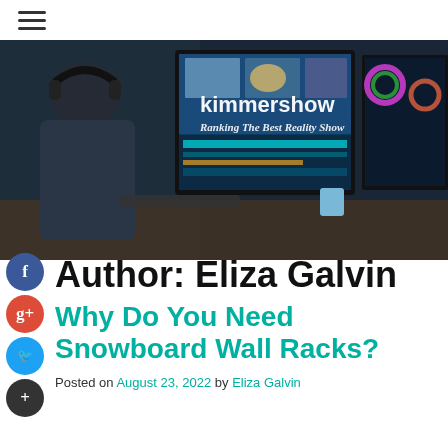kimmershow — Ranking The Best Reality Show
[Figure (photo): Person with headphones sitting at a desk editing video on dual monitors in a dark studio environment, with website branding overlay reading 'kimmershow - Ranking The Best Reality Show']
Author: Eliza Galvin
Why Do You Need Snowboard Wall Racks?
Posted on August 23, 2022 by Eliza Galvin